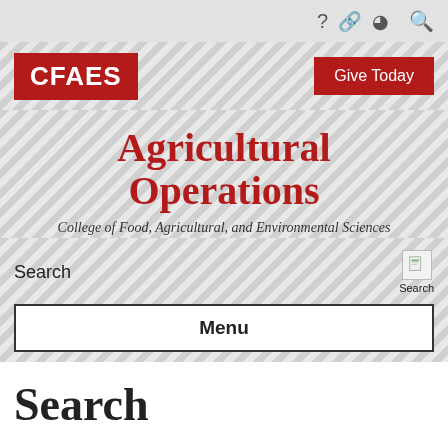? [link] [compass] [search]
[Figure (logo): CFAES red logo box on left, Give Today red button on right, on diagonal stripe background]
Agricultural Operations
College of Food, Agricultural, and Environmental Sciences
Search
Menu
Search